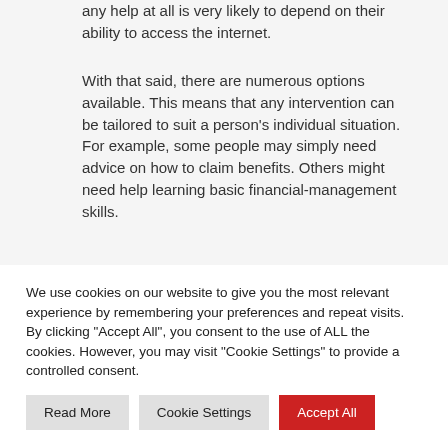any help at all is very likely to depend on their ability to access the internet.
With that said, there are numerous options available. This means that any intervention can be tailored to suit a person's individual situation. For example, some people may simply need advice on how to claim benefits. Others might need help learning basic financial-management skills.
Some people might need the help of a mental-
We use cookies on our website to give you the most relevant experience by remembering your preferences and repeat visits. By clicking "Accept All", you consent to the use of ALL the cookies. However, you may visit "Cookie Settings" to provide a controlled consent.